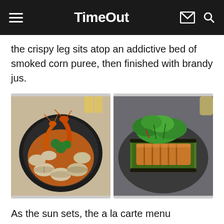Time Out
the crispy leg sits atop an addictive bed of smoked corn puree, then finished with brandy jus.
[Figure (photo): Two food photos side by side: left shows a black pan with large prawns/shrimp and clams in a spiced broth; right shows a grilled fish fillet wrapped in banana leaf on a dark plate with greens on top.]
As the sun sets, the a la carte menu transitions to feature skewers grilled over bincho-tan and heartier mains. Begin